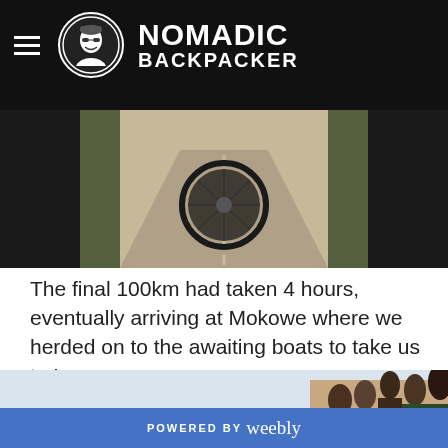NOMADIC BACKPACKER
[Figure (photo): View from inside a vehicle looking out at a dirt road, with a fan visible in the center of the frame, trees on either side, sepia/black-and-white tone]
The final 100km had taken 4 hours, eventually arriving at Mokowe where we herded on to the awaiting boats to take us to Lamu:
[Figure (photo): Crowded waterfront scene with people gathered near boats on the water, one person wearing a shirt that says TANZANIA, ocean/bay visible in background]
POWERED BY weebly